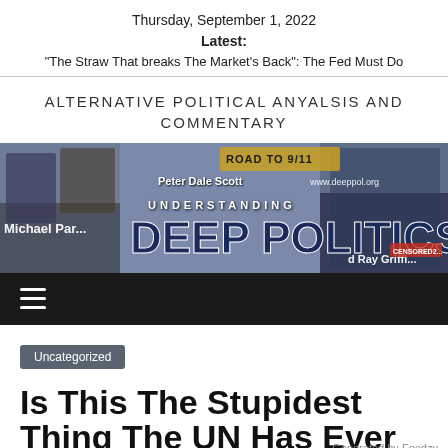Thursday, September 1, 2022
Latest:
"The Straw That breaks The Market’s Back": The Fed Must Do
ALTERNATIVE POLITICAL ANYALSIS AND COMMENTARY
[Figure (illustration): Website banner for 'Understanding Deep Politics' with political figures and text including Michael Parenti, Peter Dale Scott, Road to 9/11, www.deeppol.org, Ray Griffin]
[Figure (infographic): Black navigation bar with hamburger menu icon (three horizontal lines)]
Uncategorized
Is This The Stupidest Thing The UN Has Ever